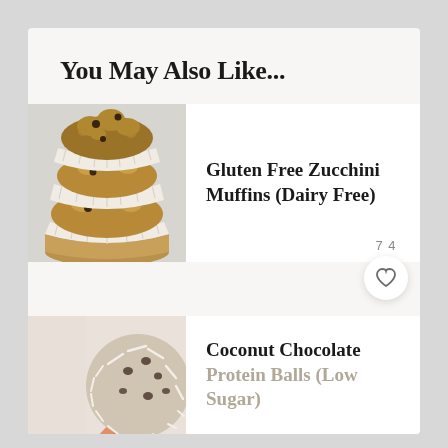You May Also Like...
[Figure (photo): Stack of three gluten free zucchini chocolate chip muffins in paper liners, stacked vertically, on a light background]
Gluten Free Zucchini Muffins (Dairy Free)
[Figure (photo): Hand holding a coconut chocolate protein ball covered in shredded coconut, partially visible at bottom]
Coconut Chocolate Protein Balls (Low Sugar)